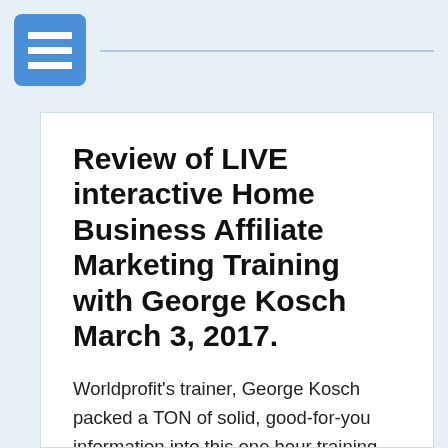Review of LIVE interactive Home Business Affiliate Marketing Training with George Kosch March 3, 2017.
Worldprofit's trainer, George Kosch packed a TON of solid, good-for-you information into this one hour training session. What's New / Updates / Discussion Money is made by making offers. Leads respond to offers. It's the GIVE AWAY that gets people to take action. You, me and everyone on the planet likes to get